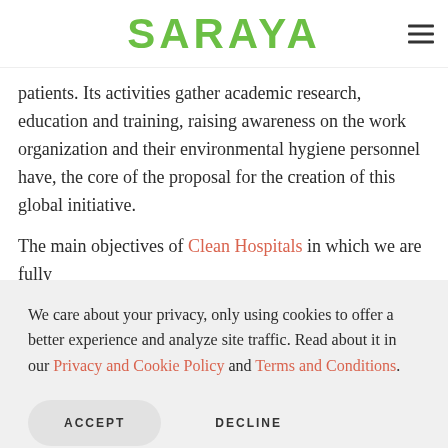SARAYA
patients. Its activities gather academic research, education and training, raising awareness on the work organization and their environmental hygiene personnel have, the core of the proposal for the creation of this global initiative.
The main objectives of Clean Hospitals in which we are fully
We care about your privacy, only using cookies to offer a better experience and analyze site traffic. Read about it in our Privacy and Cookie Policy and Terms and Conditions.
ACCEPT   DECLINE
programs